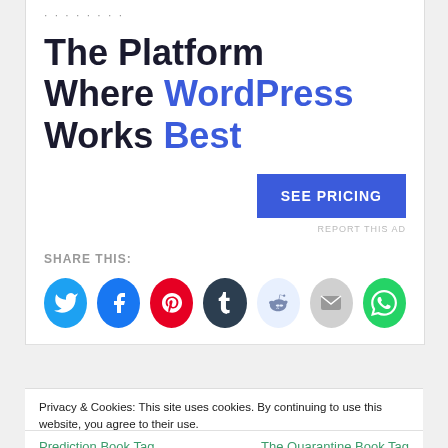The Platform Where WordPress Works Best
SEE PRICING
REPORT THIS AD
SHARE THIS:
[Figure (infographic): Social share icons: Twitter, Facebook, Pinterest, Tumblr, Reddit, Email, WhatsApp]
Privacy & Cookies: This site uses cookies. By continuing to use this website, you agree to their use.
To find out more, including how to control cookies, see here: Cookie Policy
Close and accept
Prediction Book Tag
The Quarantine Book Tag